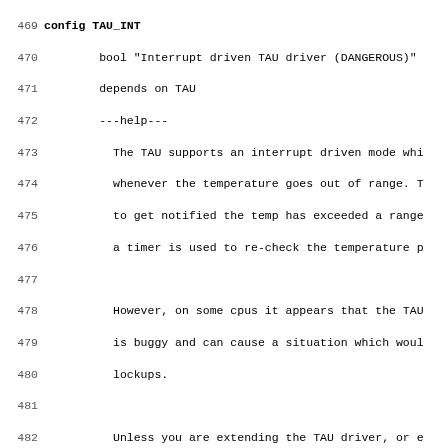Source code listing lines 469-501 showing Kconfig entries for TAU_INT and TAU_AVERAGE Linux kernel configuration options.